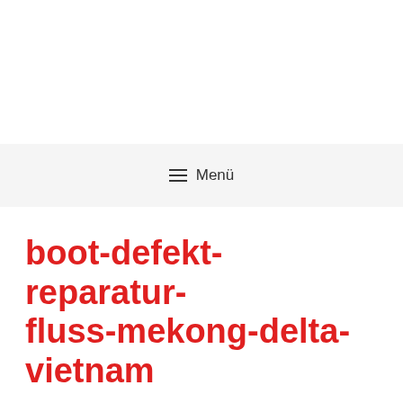≡ Menü
boot-defekt-reparatur-fluss-mekong-delta-vietnam